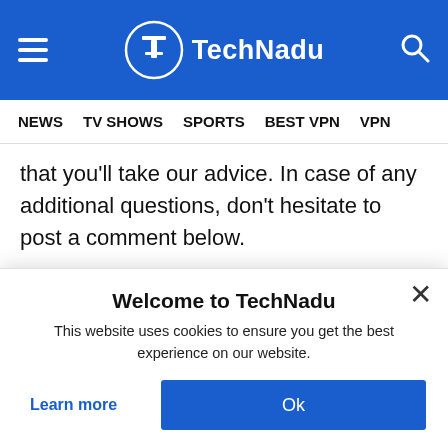TechNadu
NEWS   TV SHOWS   SPORTS   BEST VPN   VPN
that you'll take our advice. In case of any additional questions, don't hesitate to post a comment below.
[Figure (other): Social share buttons: Facebook, Twitter, LinkedIn, Reddit, Email, Link]
Welcome to TechNadu
This website uses cookies to ensure you get the best experience on our website.
Learn more
Ok